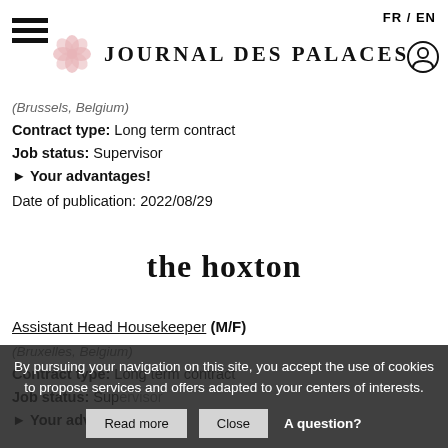FR / EN
[Figure (logo): Journal des Palaces logo with pink flower emblem and serif text]
(Brussels, Belgium)
Contract type: Long term contract
Job status: Supervisor
► Your advantages!
Date of publication: 2022/08/29
[Figure (logo): The Hoxton hotel brand logo in bold serif lowercase text]
Assistant Head Housekeeper (M/F)
(Bruxelles, Belgium)
Contract type: Long term contract
Job status: Supervisor
► Your advantages!
By pursuing your navigation on this site, you accept the use of cookies to propose services and offers adapted to your centers of interests.
Read more
Close
A question?